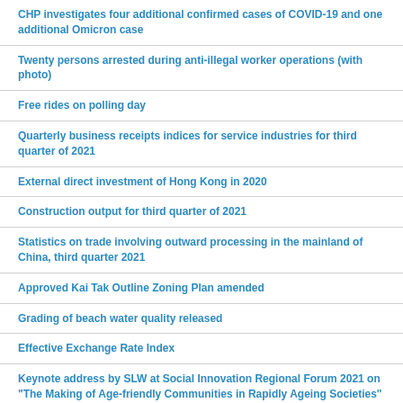CHP investigates four additional confirmed cases of COVID-19 and one additional Omicron case
Twenty persons arrested during anti-illegal worker operations (with photo)
Free rides on polling day
Quarterly business receipts indices for service industries for third quarter of 2021
External direct investment of Hong Kong in 2020
Construction output for third quarter of 2021
Statistics on trade involving outward processing in the mainland of China, third quarter 2021
Approved Kai Tak Outline Zoning Plan amended
Grading of beach water quality released
Effective Exchange Rate Index
Keynote address by SLW at Social Innovation Regional Forum 2021 on "The Making of Age-friendly Communities in Rapidly Ageing Societies" (English only)
Special traffic and transport arrangements for Christmas market at